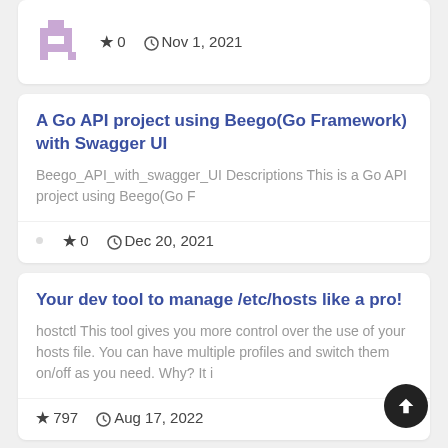[Figure (illustration): Pixel art avatar icon in light purple/mauve color, showing a small humanoid figure]
★ 0   🕐 Nov 1, 2021
A Go API project using Beego(Go Framework) with Swagger UI
Beego_API_with_swagger_UI Descriptions This is a Go API project using Beego(Go F
★ 0   🕐 Dec 20, 2021
Your dev tool to manage /etc/hosts like a pro!
hostctl This tool gives you more control over the use of your hosts file. You can have multiple profiles and switch them on/off as you need. Why? It i
★ 797   🕐 Aug 17, 2022